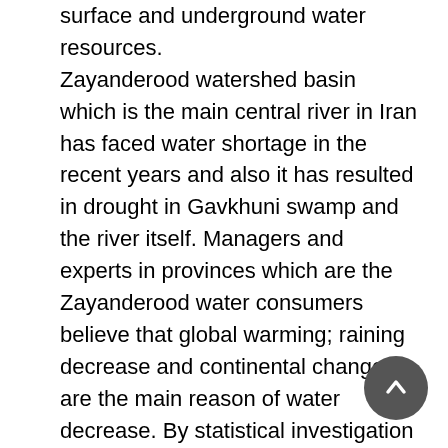surface and underground water resources. Zayanderood watershed basin which is the main central river in Iran has faced water shortage in the recent years and also it has resulted in drought in Gavkhuni swamp and the river itself. Managers and experts in provinces which are the Zayanderood water consumers believe that global warming; raining decrease and continental changes are the main reason of water decrease. By statistical investigation of annual Precipitation and 46 years temperature of internal and external areas of Zayanderood watershed basin's stations and by using Kendal-man method, Precipitation and temperature procedure changes have been analyzed in this basin. According to obtained results, there was not any noticeable decrease or increase procedure in Precipitation and annual temperature in the basin during this period. However, regarding to Precipitation, a noticeable